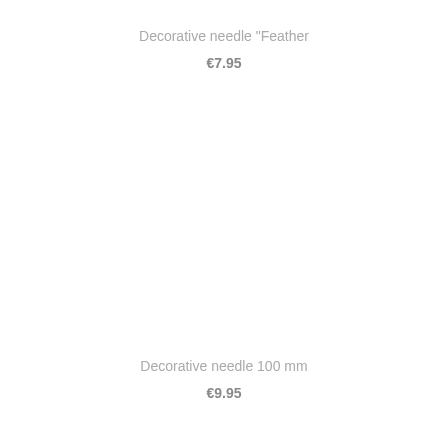Decorative needle "Feather
€7.95
Decorative needle 100 mm
€9.95